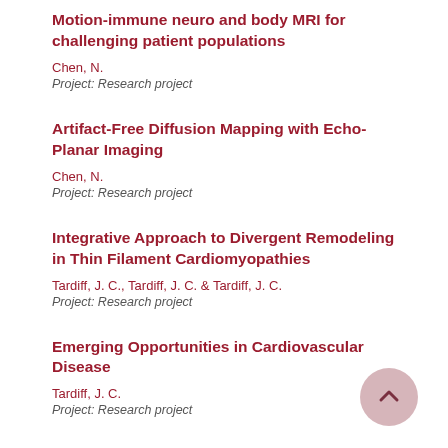Motion-immune neuro and body MRI for challenging patient populations
Chen, N.
Project: Research project
Artifact-Free Diffusion Mapping with Echo-Planar Imaging
Chen, N.
Project: Research project
Integrative Approach to Divergent Remodeling in Thin Filament Cardiomyopathies
Tardiff, J. C., Tardiff, J. C. & Tardiff, J. C.
Project: Research project
Emerging Opportunities in Cardiovascular Disease
Tardiff, J. C.
Project: Research project